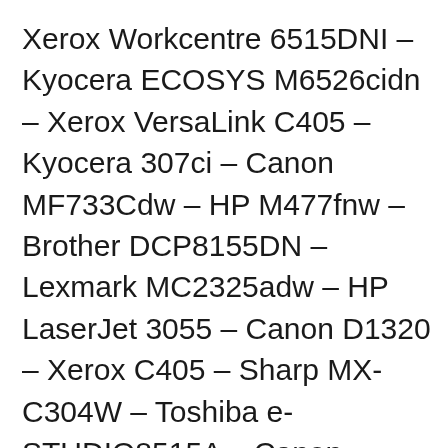Xerox Workcentre 6515DNI – Kyocera ECOSYS M6526cidn – Xerox VersaLink C405 – Kyocera 307ci – Canon MF733Cdw – HP M477fnw – Brother DCP8155DN – Lexmark MC2325adw – HP LaserJet 3055 – Canon D1320 – Xerox C405 – Sharp MX-C304W – Toshiba e-STUDIO8515A – Canon C7580i – Canon C5560i – Ricoh 2555SP – Kyocera 8052ci – Canon C3530i – Kyocera 9002i – Xerox C8030 – Canon 6575i – Sharp MX-M5070 – Sharp MX-6070N – Sharp MX-M3070 – Sharp MX-M7570 – Canon 4551i – Canon 8595i